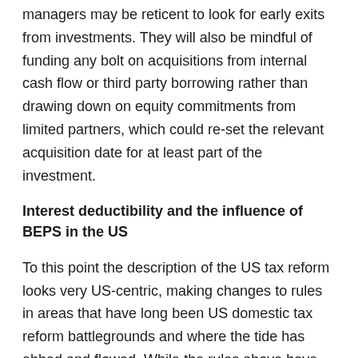managers may be reticent to look for early exits from investments. They will also be mindful of funding any bolt on acquisitions from internal cash flow or third party borrowing rather than drawing down on equity commitments from limited partners, which could re-set the relevant acquisition date for at least part of the investment.
Interest deductibility and the influence of BEPS in the US
To this point the description of the US tax reform looks very US-centric, making changes to rules in areas that have long been US domestic tax reform battlegrounds and where the tide has ebbed and flowed. While the rules above have significant international investment ramifications, they largely play to a domestic US audience, including the many lawyers, accountants, particularly US focused. The US